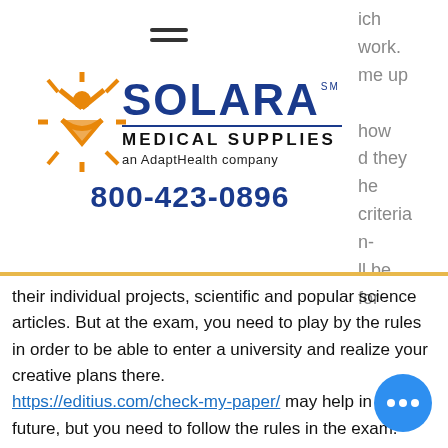[Figure (logo): Solara Medical Supplies logo — sun/star icon in orange, SOLARA in large blue bold text with SM mark, horizontal blue line, MEDICAL SUPPLIES in bold black, 'an AdaptHealth company' tagline, phone number 800-423-0896 in blue bold]
ich work. me up show d they he criteria n- ll be for
their individual projects, scientific and popular science articles. But at the exam, you need to play by the rules in order to be able to enter a university and realize your creative plans there.
https://editius.com/check-my-paper/ may help in the future, but you need to follow the rules in the exam. Thus, it is possible to score a good score.
Another mistake that is hard to deal with: